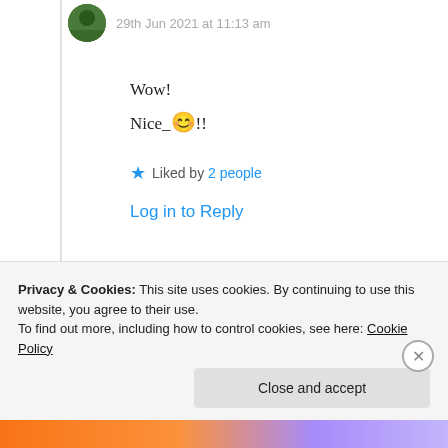[Figure (photo): Circular avatar photo showing a person outdoors with green foliage]
29th Jun 2021 at 11:13 am
Wow!
Nice_😊!!
★ Liked by 2 people
Log in to Reply
[Figure (photo): Circular avatar photo of Suma Reddy]
Suma Reddy
29th Jun 2021 at 3:43
Privacy & Cookies: This site uses cookies. By continuing to use this website, you agree to their use.
To find out more, including how to control cookies, see here: Cookie Policy
Close and accept